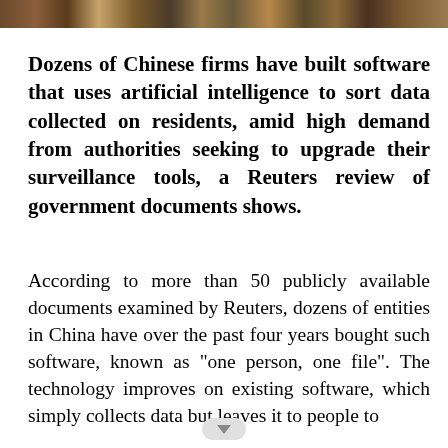[Figure (photo): Colorful photo strip at top of page showing people or crowd scene]
Dozens of Chinese firms have built software that uses artificial intelligence to sort data collected on residents, amid high demand from authorities seeking to upgrade their surveillance tools, a Reuters review of government documents shows.
According to more than 50 publicly available documents examined by Reuters, dozens of entities in China have over the past four years bought such software, known as "one person, one file". The technology improves on existing software, which simply collects data but leaves it to people to